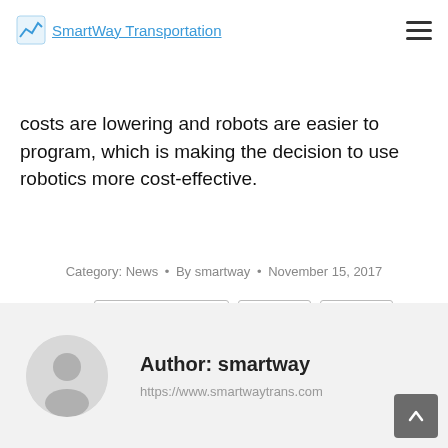Smartway Transportation
costs are lowering and robots are easier to program, which is making the decision to use robotics more cost-effective.
Category: News • By smartway • November 15, 2017
Tags: artificial intelligence  Logistics  Shipping
Author: smartway
https://www.smartwaytrans.com